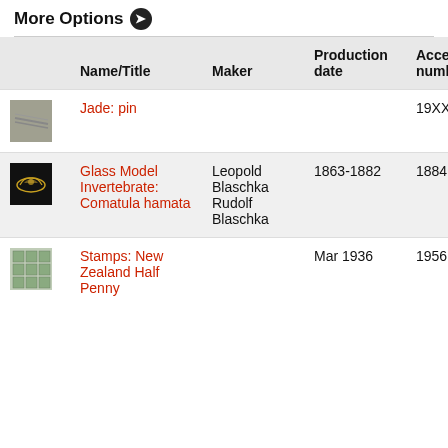More Options ❯
|  | Name/Title | Maker | Production date | Acce… numb… |
| --- | --- | --- | --- | --- |
| [image: jade pin] | Jade: pin |  |  | 19XX |
| [image: glass model] | Glass Model Invertebrate: Comatula hamata | Leopold Blaschka Rudolf Blaschka | 1863-1882 | 1884 |
| [image: stamps] | Stamps: New Zealand Half Penny |  | Mar 1936 | 1956 |